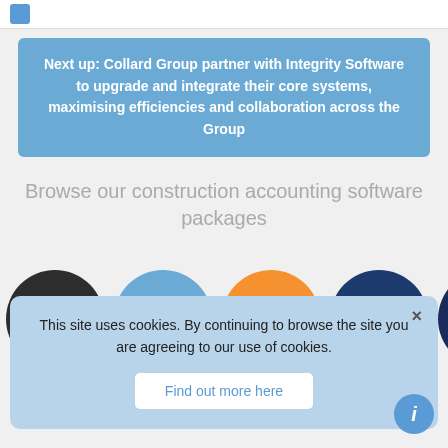Next up: Collard Group partner with Integrity Software to upgrade and integrate their core systems, maximising efficiencies and collaboration across the Group
Browse our construction accounting software packages
[Figure (infographic): Row of circular product logos: evolution mx lite (dark), evolution mx standard (blue), evolution mx enterprise (orange), StreamBIM (dark navy with hexagon icon), esti-mate (dark navy with image)]
This site uses cookies. By continuing to browse the site you are agreeing to our use of cookies.
Find out more here